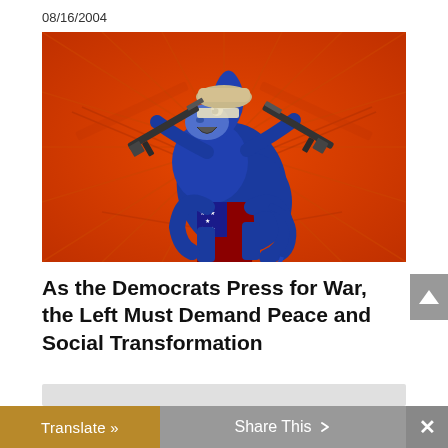08/16/2004
[Figure (illustration): Cartoon illustration of a blue Democratic donkey wearing a military helmet and American flag pants, rearing up on hind legs and holding two assault rifles, against a bright orange background with radiating lines and faint weapon silhouettes.]
As the Democrats Press for War, the Left Must Demand Peace and Social Transformation
01/24/2017